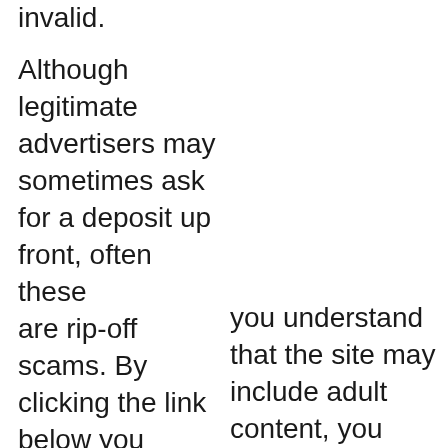invalid.
Although legitimate advertisers may sometimes ask for a deposit up front, often these are rip-off scams. By clicking the link below you confirm that you are 21 or older
you understand that the site may include adult content, you accept our